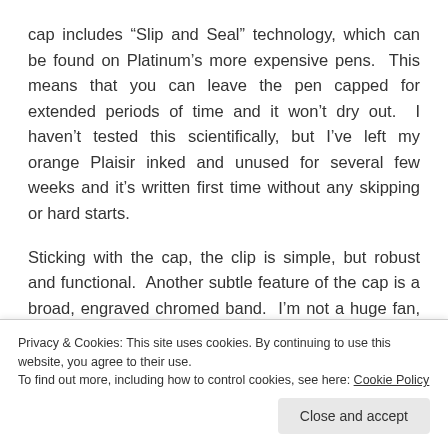cap includes “Slip and Seal” technology, which can be found on Platinum’s more expensive pens. This means that you can leave the pen capped for extended periods of time and it won’t dry out. I haven’t tested this scientifically, but I’ve left my orange Plaisir inked and unused for several few weeks and it’s written first time without any skipping or hard starts.
Sticking with the cap, the clip is simple, but robust and functional. Another subtle feature of the cap is a broad, engraved chromed band. I’m not a huge fan, but can live with it as a “feature” at this price. I know plenty of
Privacy & Cookies: This site uses cookies. By continuing to use this website, you agree to their use.
To find out more, including how to control cookies, see here: Cookie Policy